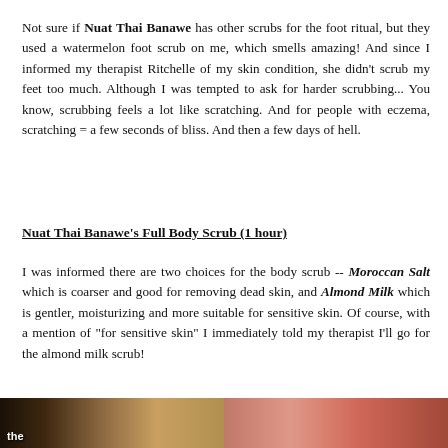Not sure if Nuat Thai Banawe has other scrubs for the foot ritual, but they used a watermelon foot scrub on me, which smells amazing! And since I informed my therapist Ritchelle of my skin condition, she didn't scrub my feet too much. Although I was tempted to ask for harder scrubbing... You know, scrubbing feels a lot like scratching. And for people with eczema, scratching = a few seconds of bliss. And then a few days of hell.
Nuat Thai Banawe's Full Body Scrub (1 hour)
I was informed there are two choices for the body scrub -- Moroccan Salt which is coarser and good for removing dead skin, and Almond Milk which is gentler, moisturizing and more suitable for sensitive skin. Of course, with a mention of "for sensitive skin" I immediately told my therapist I'll go for the almond milk scrub!
[Figure (photo): Two photos side by side at the bottom of the page: left shows a spa/massage scene with warm brown tones and the word 'the' visible; right shows skin/body being scrubbed with pinkish-red tones.]